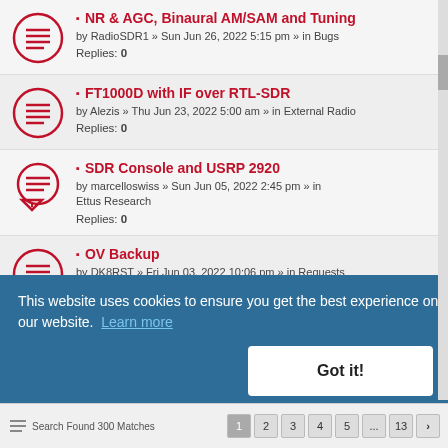NR & AGC, Binaural AM/SAM and Tuning — by RadioSDR1 » Sun Jun 26, 2022 5:15 pm » in Bugs — Replies: 0
FT1000D with IF over RTL-SDR — by Alezis » Thu Jun 23, 2022 5:00 am » in External Radio — Replies: 0
SDR Console and USRP 2920 — by marcelloswiss » Sun Jun 05, 2022 2:45 pm » in Ettus Research — Replies: 0
OV Backup — by DK8RST » Fri Jun 03, 2022 10:06 pm » in Requests — Replies: 0
Special Reset, OV Reset — by DK8RST » Thu Jun 02, 2022 6:03 pm » in Requests
This website uses cookies to ensure you get the best experience on our website. Learn more
Got it!
Search Found 300 Matches — pagination: 1 2 3 4 5 ... 13 >